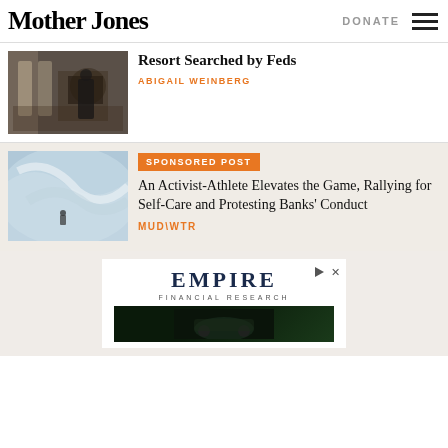Mother Jones | DONATE
[Figure (photo): Person standing in an ornate room with American flags]
Resort Searched by Feds
ABIGAIL WEINBERG
[Figure (photo): Surfer riding a large wave]
SPONSORED POST
An Activist-Athlete Elevates the Game, Rallying for Self-Care and Protesting Banks' Conduct
MUD\WTR
[Figure (other): Empire Financial Research advertisement with dark car image]